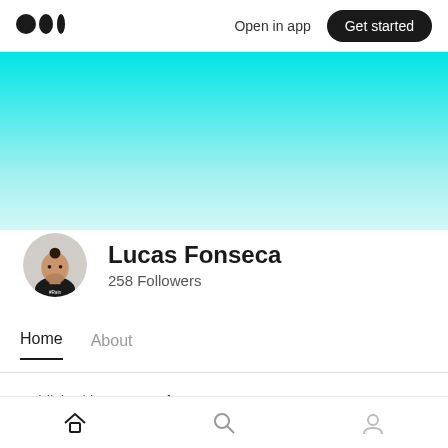Medium logo | Open in app | Get started
[Figure (illustration): Cyan to white gradient banner background]
[Figure (photo): Circular avatar photo of Lucas Fonseca wearing a black t-shirt with hair up]
Lucas Fonseca
258 Followers
Home   About
Published in Dev Genius · Dec 19, 2021
Home icon | Search icon | Profile icon